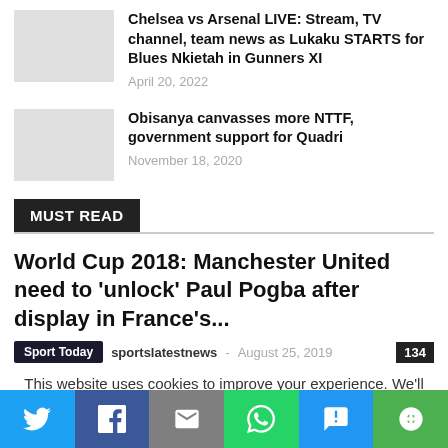Chelsea vs Arsenal LIVE: Stream, TV channel, team news as Lukaku STARTS for Blues Nkietah in Gunners XI
April 20, 2022
Obisanya canvasses more NTTF, government support for Quadri
November 18, 2020
MUST READ
World Cup 2018: Manchester United need to ‘unlock’ Paul Pogba after display in France’s...
Sport Today  sportslatestnews  August 25, 2019  134
This website uses cookies to improve your experience. We’ll assume you’re ok with this, but you can opt-out if you wish.
[Figure (infographic): Social sharing bar with Twitter, Facebook, Email, WhatsApp, SMS, and copy link buttons]